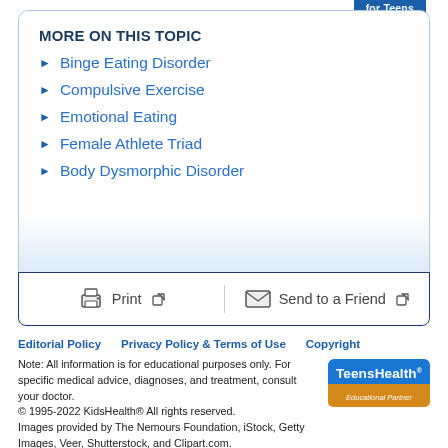for Teens
MORE ON THIS TOPIC
Binge Eating Disorder
Compulsive Exercise
Emotional Eating
Female Athlete Triad
Body Dysmorphic Disorder
Print   Send to a Friend
Editorial Policy   Privacy Policy & Terms of Use   Copyright
Note: All information is for educational purposes only. For specific medical advice, diagnoses, and treatment, consult your doctor.
© 1995-2022 KidsHealth® All rights reserved.
Images provided by The Nemours Foundation, iStock, Getty Images, Veer, Shutterstock, and Clipart.com.
[Figure (logo): TeensHealth Educational Partner logo]